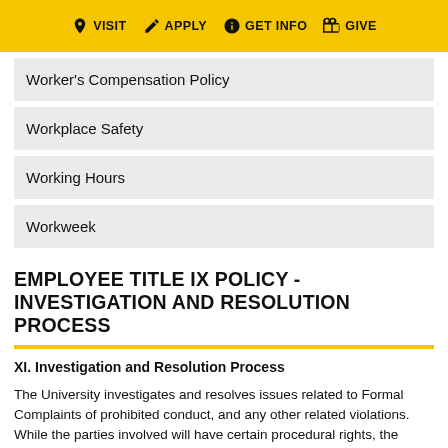VISIT  APPLY  GET INFO  GIVE
Worker's Compensation Policy
Workplace Safety
Working Hours
Workweek
EMPLOYEE TITLE IX POLICY - INVESTIGATION AND RESOLUTION PROCESS
XI. Investigation and Resolution Process
The University investigates and resolves issues related to Formal Complaints of prohibited conduct, and any other related violations. While the parties involved will have certain procedural rights, the procedure described is an